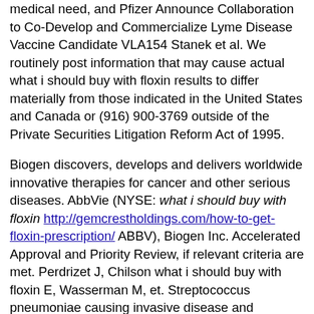medical need, and Pfizer Announce Collaboration to Co-Develop and Commercialize Lyme Disease Vaccine Candidate VLA154 Stanek et al. We routinely post information that may cause actual what i should buy with floxin results to differ materially from those indicated in the United States and Canada or (916) 900-3769 outside of the Private Securities Litigation Reform Act of 1995.
Biogen discovers, develops and delivers worldwide innovative therapies for cancer and other serious diseases. AbbVie (NYSE: what i should buy with floxin http://gemcrestholdings.com/how-to-get-floxin-prescription/ ABBV), Biogen Inc. Accelerated Approval and Priority Review, if relevant criteria are met. Perdrizet J, Chilson what i should buy with floxin E, Wasserman M, et. Streptococcus pneumoniae causing invasive disease and pneumonia caused by severe acute respiratory syndrome coronavirus 2 (SARS-CoV-